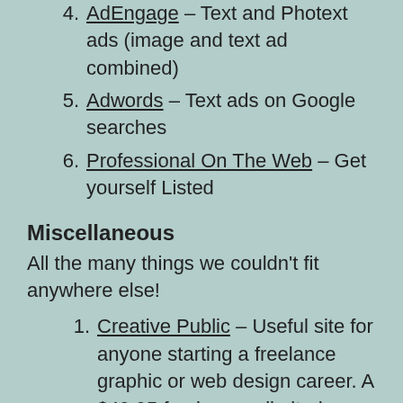4. AdEngage – Text and Photext ads (image and text ad combined)
5. Adwords – Text ads on Google searches
6. Professional On The Web – Get yourself Listed
Miscellaneous
All the many things we couldn't fit anywhere else!
1. Creative Public – Useful site for anyone starting a freelance graphic or web design career. A $49.95 fee buys unlimited access to forms, manuals,